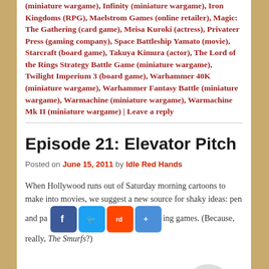(miniature wargame), Infinity (miniature wargame), Iron Kingdoms (RPG), Maelstrom Games (online retailer), Magic: The Gathering (card game), Meisa Kuroki (actress), Privateer Press (gaming company), Space Battleship Yamato (movie), Starcraft (board game), Takuya Kimura (actor), The Lord of the Rings Strategy Battle Game (miniature wargame), Twilight Imperium 3 (board game), Warhammer 40K (miniature wargame), Warhammer Fantasy Battle (miniature wargame), Warmachine (miniature wargame), Warmachine Mk II (miniature wargame) | Leave a reply
Episode 21: Elevator Pitch
Posted on June 15, 2011 by Idle Red Hands
When Hollywood runs out of Saturday morning cartoons to make into movies, we suggest a new source for shaky ideas: pen and paper role playing games. (Because, really, The Smurfs?)